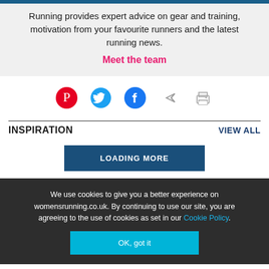Running provides expert advice on gear and training, motivation from your favourite runners and the latest running news.
Meet the team
[Figure (infographic): Social sharing icons: Pinterest (red), Twitter (blue bird), Facebook (blue), Share arrow (grey), Print (grey)]
INSPIRATION
VIEW ALL
LOADING MORE
We use cookies to give you a better experience on womensrunning.co.uk. By continuing to use our site, you are agreeing to the use of cookies as set in our Cookie Policy.
OK, got it